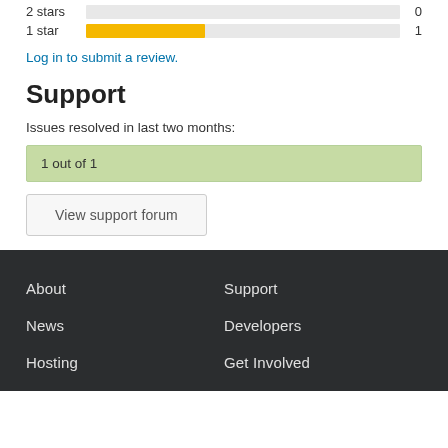[Figure (bar-chart): Star ratings]
Log in to submit a review.
Support
Issues resolved in last two months:
1 out of 1
View support forum
About  Support  News  Developers  Hosting  Get Involved